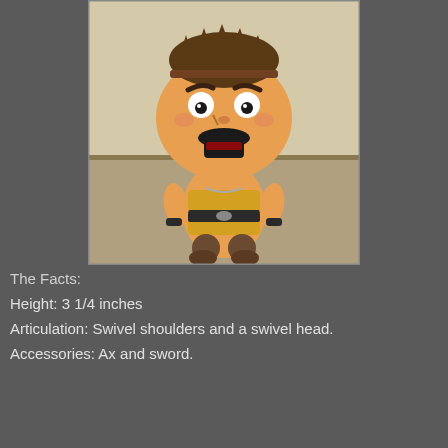[Figure (photo): A small collectible toy figure of a fierce-looking warrior character with brown hair, angry expression, mustache, wearing a yellow/orange outfit with black accessories. The figure has a big head and small body in chibi style.]
The Facts:
Height: 3 1/4 inches
Articulation: Swivel shoulders and a swivel head.
Accessories: Ax and sword.